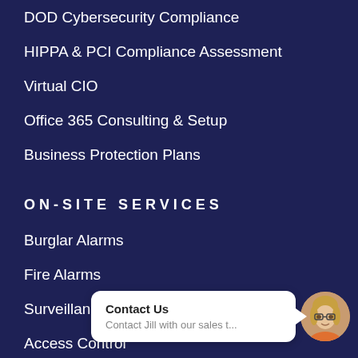DOD Cybersecurity Compliance
HIPPA & PCI Compliance Assessment
Virtual CIO
Office 365 Consulting & Setup
Business Protection Plans
ON-SITE SERVICES
Burglar Alarms
Fire Alarms
Surveillance
Access Control
Drive-Thru Systems
Audio & Paging Syst…
Contact Us
[Figure (screenshot): Chat popup widget with title 'Contact Us' and subtitle 'Contact Jill with our sales t...' alongside a circular avatar photo of a woman with glasses]